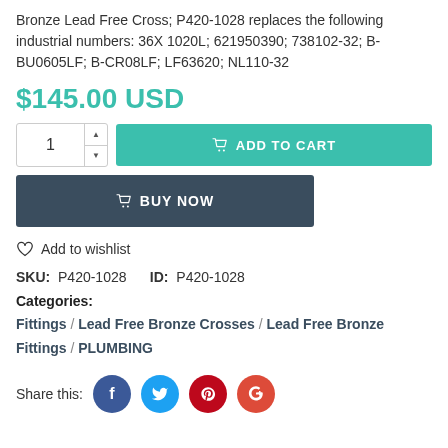Bronze Lead Free Cross; P420-1028 replaces the following industrial numbers: 36X 1020L; 621950390; 738102-32; B-BU0605LF; B-CR08LF; LF63620; NL110-32
$145.00 USD
[Figure (screenshot): Quantity selector box with up/down arrows showing value 1, and a teal ADD TO CART button with cart icon]
[Figure (screenshot): Dark blue-gray BUY NOW button with cart icon]
Add to wishlist
SKU:  P420-1028      ID:  P420-1028
Categories:
Fittings  /  Lead Free Bronze Crosses  /  Lead Free Bronze Fittings  /  PLUMBING
Share this: